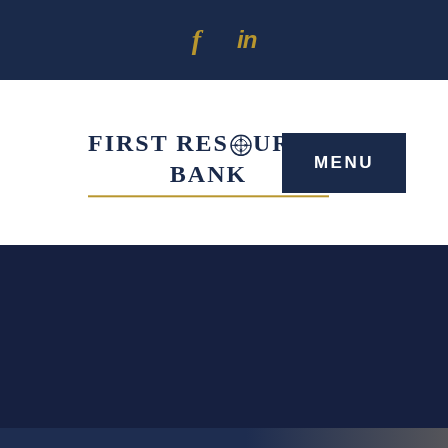f  in
[Figure (logo): First Resource Bank logo with compass rose icon and gold underline]
MENU
[Figure (photo): Dark navy blue background section, lower portion shows bottom of page with dark gradient strip]